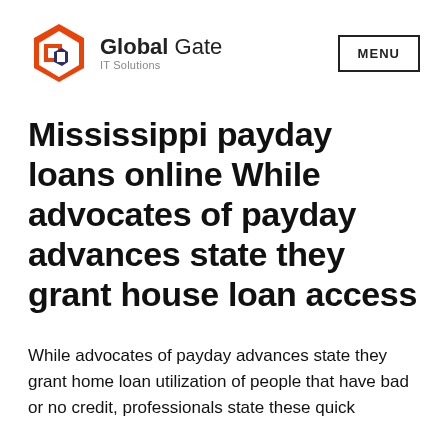[Figure (logo): Global Gate IT Solutions logo with orange hexagon icon and company name]
Mississippi payday loans online While advocates of payday advances state they grant house loan access
While advocates of payday advances state they grant home loan utilization of people that have bad or no credit, professionals state these quick